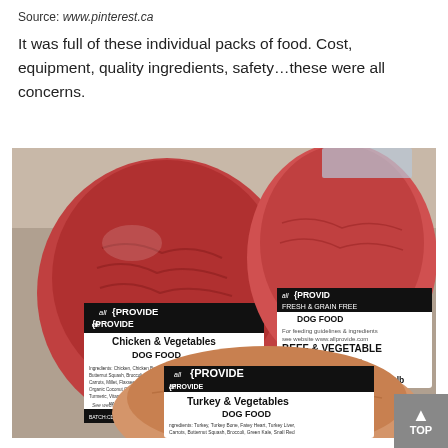Source: www.pinterest.ca
It was full of these individual packs of food. Cost, equipment, quality ingredients, safety…these were all concerns.
[Figure (photo): Three frozen raw dog food packages from 'all{PROVIDE' brand arranged in a container. Left package: Chicken & Vegetables DOG FOOD, 1 lb, BATCH:CDF06 2415, BEST BEFORE: Nov 2016. Right package: all{PROVIDE FRESH & GRAIN FREE DOG FOOD, BEEF & VEGETABLE, BATCH CODE: BDF041515, BEST BEFORE: April 2016, 1lb. Bottom package: Turkey & Vegetables DOG FOOD with ingredients list.]